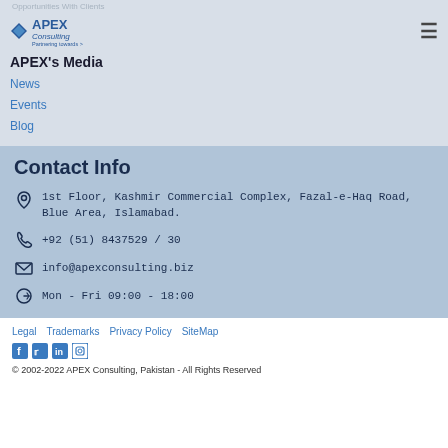Opportunities With Clients
[Figure (logo): APEX Consulting logo with blue diamond icon and tagline]
APEX's Media
News
Events
Blog
Contact Info
1st Floor, Kashmir Commercial Complex, Fazal-e-Haq Road, Blue Area, Islamabad.
+92 (51) 8437529 / 30
info@apexconsulting.biz
Mon - Fri 09:00 - 18:00
Legal   Trademarks   Privacy Policy   SiteMap
© 2002-2022 APEX Consulting, Pakistan - All Rights Reserved